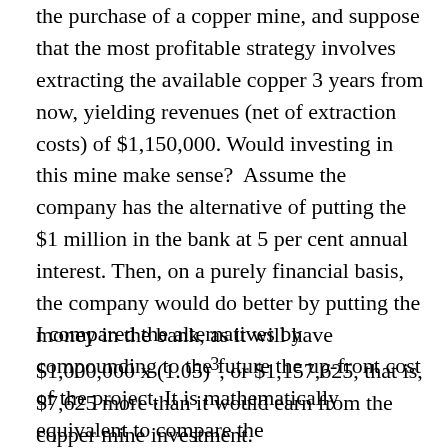the purchase of a copper mine, and suppose that the most profitable strategy involves extracting the available copper 3 years from now, yielding revenues (net of extraction costs) of $1,150,000. Would investing in this mine make sense?  Assume the company has the alternative of putting the $1 million in the bank at 5 per cent annual interest. Then, on a purely financial basis, the company would do better by putting the money in the bank, as it will have $1,000,000 x (1.05)³, or $1,157,625, that is, $7,625 more than it would earn from the copper mine investment.
I compared the alternatives by compounding to the future the up-front cost of the project. It is mathematically equivalent to compare the